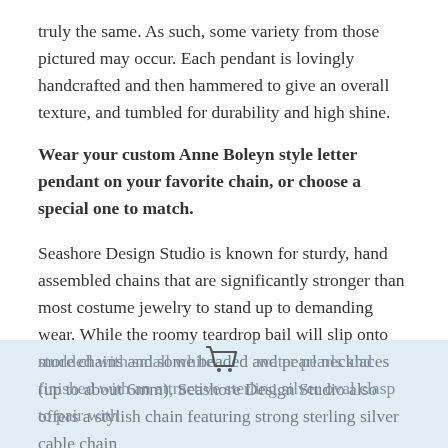truly the same. As such, some variety from those pictured may occur. Each pendant is lovingly handcrafted and then hammered to give an overall texture, and tumbled for durability and high shine.
Wear your custom Anne Boleyn style letter pendant on your favorite chain, or choose a special one to match.
Seashore Design Studio is known for sturdy, hand assembled chains that are significantly stronger than most costume jewelry to stand up to demanding wear. While the roomy teardrop bail will slip onto more chains and some beaded and pearl necklaces (up to about 6mm), Seashore Design Studio also offers a stylish chain featuring strong sterling silver cable chain studded with small white water pearls and finished with an attractive sterling silver oval clasp to pair with